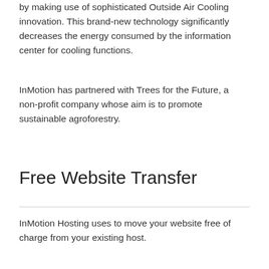by making use of sophisticated Outside Air Cooling innovation. This brand-new technology significantly decreases the energy consumed by the information center for cooling functions.
InMotion has partnered with Trees for the Future, a non-profit company whose aim is to promote sustainable agroforestry.
Free Website Transfer
InMotion Hosting uses to move your website free of charge from your existing host.